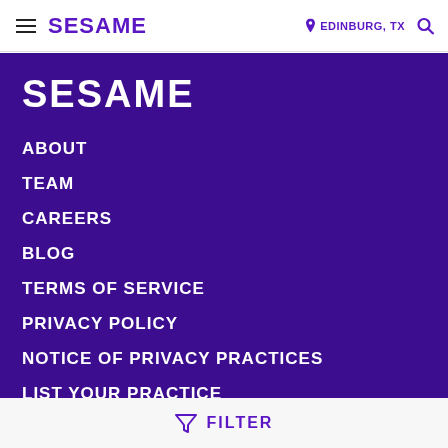SESAME  EDINBURG, TX
SESAME
ABOUT
TEAM
CAREERS
BLOG
TERMS OF SERVICE
PRIVACY POLICY
NOTICE OF PRIVACY PRACTICES
LIST YOUR PRACTICE
FILTER